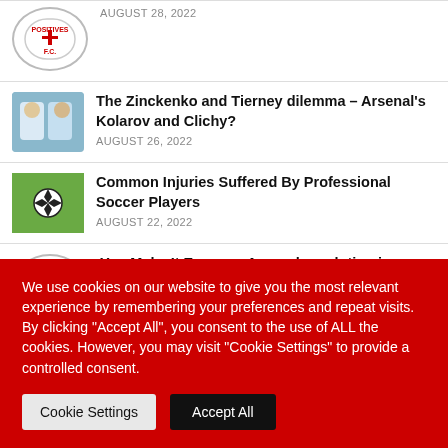AUGUST 28, 2022
The Zinckenko and Tierney dilemma – Arsenal's Kolarov and Clichy?
AUGUST 26, 2022
Common Injuries Suffered By Professional Soccer Players
AUGUST 22, 2022
You Make It Easy: an Arsenal revolution is quietly underway. [BOU 0-3 ARS]
AUGUST 21, 2022
We use cookies on our website to give you the most relevant experience by remembering your preferences and repeat visits. By clicking "Accept All", you consent to the use of ALL the cookies. However, you may visit "Cookie Settings" to provide a controlled consent.